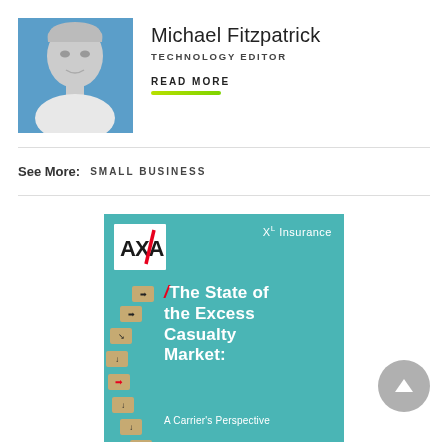[Figure (photo): Black and white headshot photo of Michael Fitzpatrick on a blue background]
Michael Fitzpatrick
TECHNOLOGY EDITOR
READ MORE
See More:  SMALL BUSINESS
[Figure (illustration): AXA XL Insurance advertisement. Teal background with wooden blocks arranged in an arc with black arrows, one red arrow block. Text reads: The State of the Excess Casualty Market: A Carrier's Perspective]